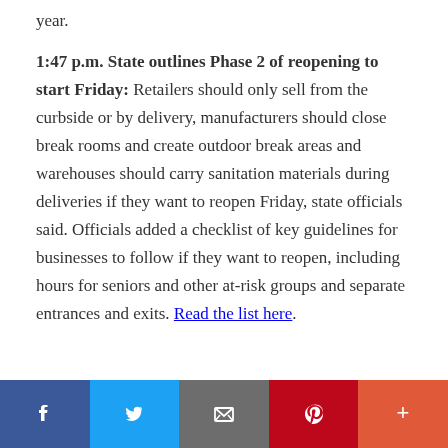year.
1:47 p.m. State outlines Phase 2 of reopening to start Friday: Retailers should only sell from the curbside or by delivery, manufacturers should close break rooms and create outdoor break areas and warehouses should carry sanitation materials during deliveries if they want to reopen Friday, state officials said. Officials added a checklist of key guidelines for businesses to follow if they want to reopen, including hours for seniors and other at-risk groups and separate entrances and exits. Read the list here.
[Figure (infographic): Social media sharing bar with Facebook, Twitter, Email, Pinterest, and More buttons]